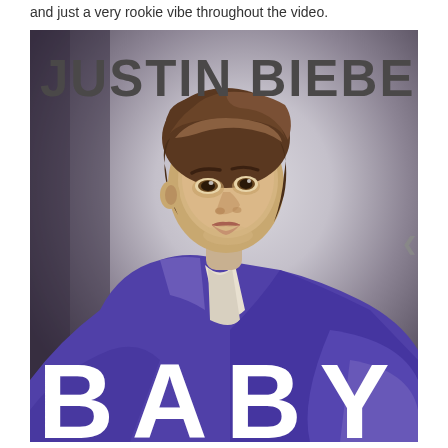and just a very rookie vibe throughout the video.
[Figure (photo): Justin Bieber 'Baby' single album cover. Young Justin Bieber wearing a purple/blue button-up shirt, looking over his shoulder against a grey gradient background. Large text 'JUSTIN BIEBER' at the top in dark grey, and 'BABY' in large white letters at the bottom.]